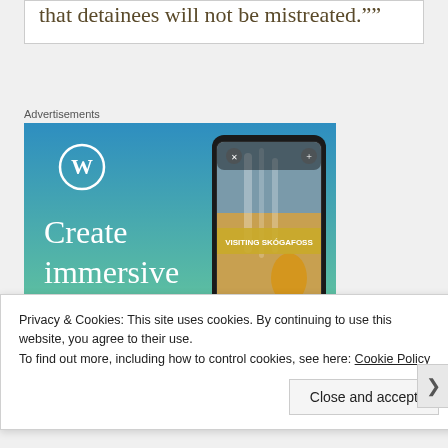that detainees will not be mistreated.""
Advertisements
[Figure (illustration): WordPress advertisement: 'Create immersive stories.' with WordPress logo and a smartphone showing a travel story titled 'Visiting Skógafoss' with a waterfall/person in yellow jacket photo. Gradient blue-green-yellow background.]
Privacy & Cookies: This site uses cookies. By continuing to use this website, you agree to their use.
To find out more, including how to control cookies, see here: Cookie Policy
Close and accept